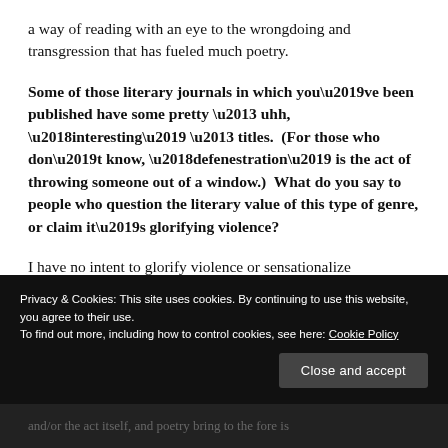a way of reading with an eye to the wrongdoing and transgression that has fueled much poetry.
Some of those literary journals in which you’ve been published have some pretty – uhh, ‘interesting’ – titles.  (For those who don’t know, ‘defenestration’ is the act of throwing someone out of a window.)  What do you say to people who question the literary value of this type of genre, or claim it’s glorifying violence?
I have no intent to glorify violence or sensationalize
Privacy & Cookies: This site uses cookies. By continuing to use this website, you agree to their use.
To find out more, including how to control cookies, see here: Cookie Policy
Close and accept